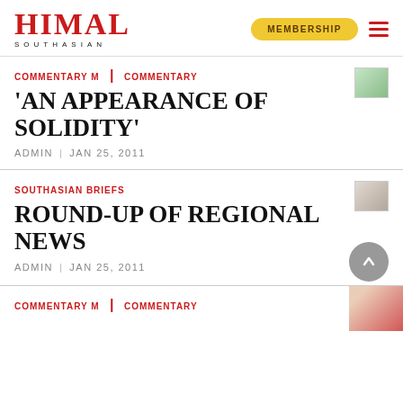HIMAL SOUTHASIAN — MEMBERSHIP
COMMENTARY M | COMMENTARY
'AN APPEARANCE OF SOLIDITY'
ADMIN | JAN 25, 2011
SOUTHASIAN BRIEFS
ROUND-UP OF REGIONAL NEWS
ADMIN | JAN 25, 2011
COMMENTARY M | COMMENTARY